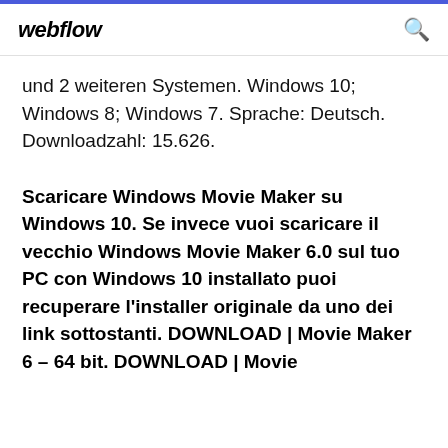webflow
und 2 weiteren Systemen. Windows 10; Windows 8; Windows 7. Sprache: Deutsch. Downloadzahl: 15.626.
Scaricare Windows Movie Maker su Windows 10. Se invece vuoi scaricare il vecchio Windows Movie Maker 6.0 sul tuo PC con Windows 10 installato puoi recuperare l'installer originale da uno dei link sottostanti. DOWNLOAD | Movie Maker 6 – 64 bit. DOWNLOAD | Movie